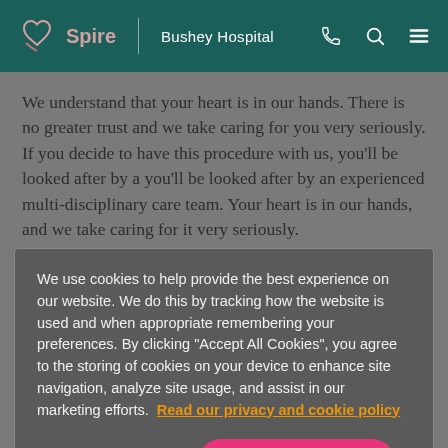Spire | Bushey Hospital
We understand that your heart is in our hands. There is no greater trust and we take caring for you very seriously. If you decide to have this procedure with us, you'll be looked after by a you'll be looked after by an experienced multi-disciplinary care team. Your heart is in our hands, and we take caring for it very seriously.
We use cookies to help provide the best experience on our website. We do this by tracking how the website is used and when appropriate remembering your preferences. By clicking "Accept All Cookies", you agree to the storing of cookies on your device to enhance site navigation, analyze site usage, and assist in our marketing efforts. Read our privacy and cookie policy
Cookies Settings
Accept All Cookies